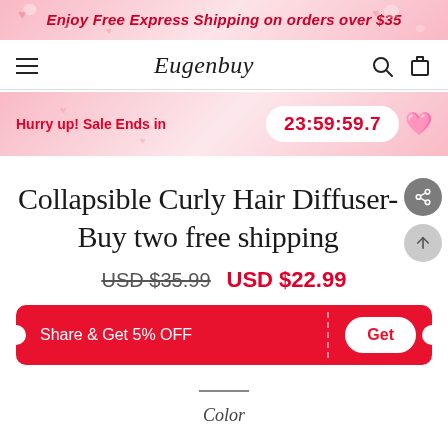Enjoy Free Express Shipping on orders over $35
Eugenbuy
Hurry up! Sale Ends in  23:59:59.7
Collapsible Curly Hair Diffuser- Buy two free shipping
USD $35.99  USD $22.99
Share & Get 5% OFF  Get
Color